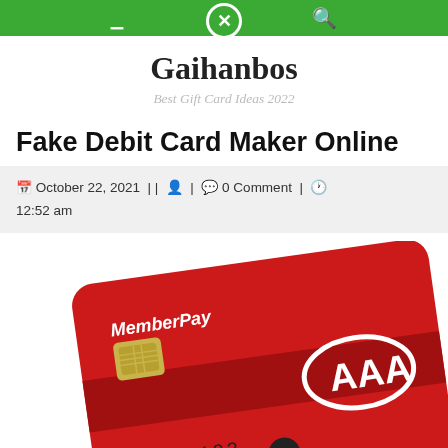Gaihanbos — Best Gift Card Ideas 2022 (navigation bar)
Gaihanbos
Best Gift Card Ideas 2022
Fake Debit Card Maker Online
October 22, 2021 || [user icon] | [comment icon] 0 Comment | [clock icon] 12:52 am
[Figure (photo): A red AAA MemberPay debit card shown at an angle, with a gold chip on the left and the AAA logo on the right. The card number begins 4000 122... The card has a darker red stripe in the middle.]